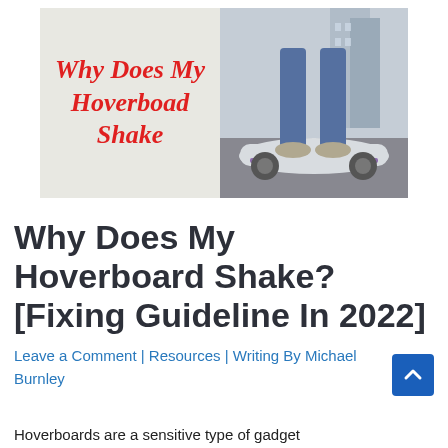[Figure (illustration): Split hero image: left half shows light gray/beige background with red italic text 'Why Does My Hoverboad Shake'; right half shows person's legs in jeans and sneakers standing on a white hoverboard on pavement]
Why Does My Hoverboard Shake? [Fixing Guideline In 2022]
Leave a Comment | Resources | Writing By Michael Burnley
Hoverboards are a sensitive type of gadget